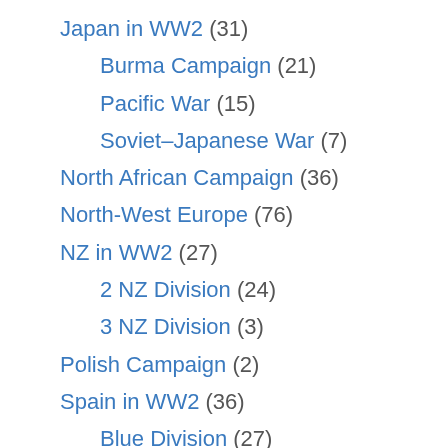Japan in WW2 (31)
Burma Campaign (21)
Pacific War (15)
Soviet–Japanese War (7)
North African Campaign (36)
North-West Europe (76)
NZ in WW2 (27)
2 NZ Division (24)
3 NZ Division (3)
Polish Campaign (2)
Spain in WW2 (36)
Blue Division (27)
Medieval Warfare (101)